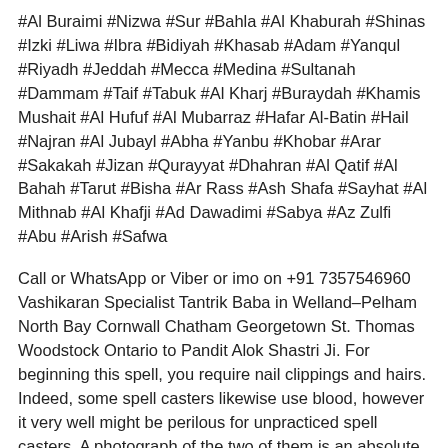#Al Buraimi #Nizwa #Sur #Bahla #Al Khaburah #Shinas #Izki #Liwa #Ibra #Bidiyah #Khasab #Adam #Yanqul #Riyadh #Jeddah #Mecca #Medina #Sultanah #Dammam #Taif #Tabuk #Al Kharj #Buraydah #Khamis Mushait #Al Hufuf #Al Mubarraz #Hafar Al-Batin #Hail #Najran #Al Jubayl #Abha #Yanbu #Khobar #Arar #Sakakah #Jizan #Qurayyat #Dhahran #Al Qatif #Al Bahah #Tarut #Bisha #Ar Rass #Ash Shafa #Sayhat #Al Mithnab #Al Khafji #Ad Dawadimi #Sabya #Az Zulfi #Abu #Arish #Safwa
Call or WhatsApp or Viber or imo on +91 7357546960 Vashikaran Specialist Tantrik Baba in Welland–Pelham North Bay Cornwall Chatham Georgetown St. Thomas Woodstock Ontario to Pandit Alok Shastri Ji. For beginning this spell, you require nail clippings and hairs. Indeed, some spell casters likewise use blood, however it very well might be perilous for unpracticed spell casters. A photograph of the two of them is an absolute necessity. Then, at that point, there is a